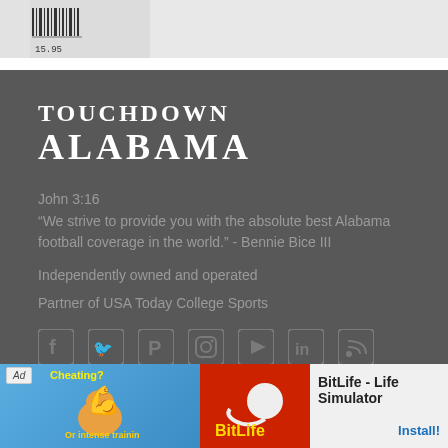[Figure (photo): Top portion showing a cropped image with barcode area and price tag visible, white/grey background]
TOUCHDOWN ALABAMA
John 3:16
“We strive to provide you with the absolute best Alabama football coverage in the world.” - Bennie Bice III
Independently owned and operated
Partner of USA Today College Sports
[Figure (infographic): Row of social media icons: Facebook, Twitter, Pinterest, Instagram, YouTube, LinkedIn, RSS feed]
[Figure (screenshot): Ad banner at bottom: BitLife - Life Simulator advertisement with Install button]